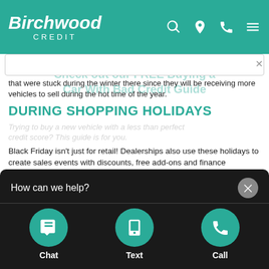Birchwood CREDIT
that were stuck during the winter there since they will be receiving more vehicles to sell during the hot time of the year.
DURING SHOPPING HOLIDAYS
Black Friday isn't just for retail! Dealerships also use these holidays to create sales events with discounts, free add-ons and finance incentives.
Long weekends are also a popular time for similar incentives and deals. If you're planning on stopping in during these busy times, make sure you've done a decent amount of research and preparation... be packed, especially... place at the end of... ter which means it'... to evaluate... dealership or wait to...
[Figure (screenshot): Chat widget popup with 'How can we help?' heading and three action buttons: Chat, Text, and Call, each in a teal circular icon on a dark background.]